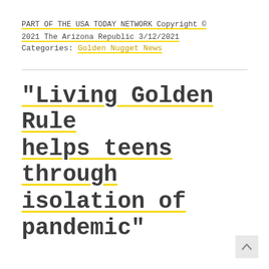PART OF THE USA TODAY NETWORK Copyright © 2021 The Arizona Republic 3/12/2021
Categories: Golden Nugget News
“Living Golden Rule helps teens through isolation of pandemic”